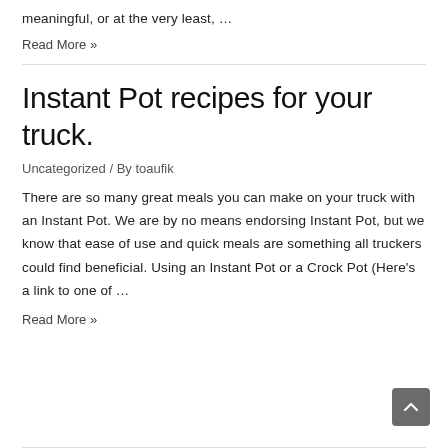meaningful, or at the very least, …
Read More »
Instant Pot recipes for your truck.
Uncategorized / By toaufik
There are so many great meals you can make on your truck with an Instant Pot. We are by no means endorsing Instant Pot, but we know that ease of use and quick meals are something all truckers could find beneficial. Using an Instant Pot or a Crock Pot (Here's a link to one of …
Read More »